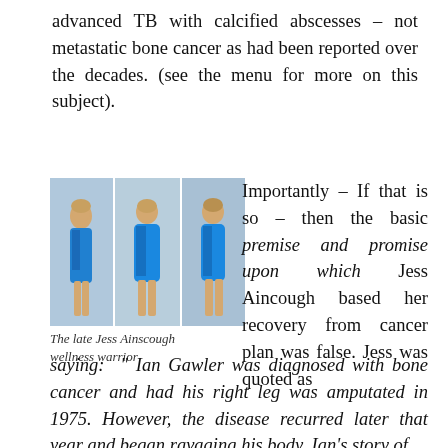advanced TB with calcified abscesses – not metastatic bone cancer as had been reported over the decades. (see the menu for more on this subject).
[Figure (photo): Three photos of the late Jess Ainscough (wellness warrior) wearing a blue dress]
The late Jess Ainscough wellness warrior
Importantly – If that is so – then the basic premise and promise upon which Jess Aincough based her recovery from cancer plan was false. Jess was quoted as saying: " Ian Gawler was diagnosed with bone cancer and had his right leg was amputated in 1975. However, the disease recurred later that year and began ravaging his body. Ian's story of